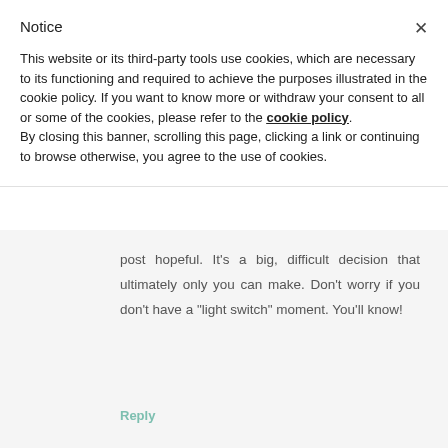Notice
This website or its third-party tools use cookies, which are necessary to its functioning and required to achieve the purposes illustrated in the cookie policy. If you want to know more or withdraw your consent to all or some of the cookies, please refer to the cookie policy. By closing this banner, scrolling this page, clicking a link or continuing to browse otherwise, you agree to the use of cookies.
post hopeful. It's a big, difficult decision that ultimately only you can make. Don't worry if you don't have a "light switch" moment. You'll know!
Reply